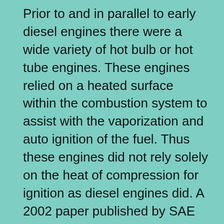Prior to and in parallel to early diesel engines there were a wide variety of hot bulb or hot tube engines. These engines relied on a heated surface within the combustion system to assist with the vaporization and auto ignition of the fuel. Thus these engines did not rely solely on the heat of compression for ignition as diesel engines did. A 2002 paper published by SAE (Society of Automotive Engineers), 2002-01-0115-Early Swedish Hot-Bulb Engines – Efficiency and Performance Compared to Contemporary Gasoline and Diesel Engines by Olof Erlandsson, of Lund Institute of Technology, represents a good summary of the technology. It compared